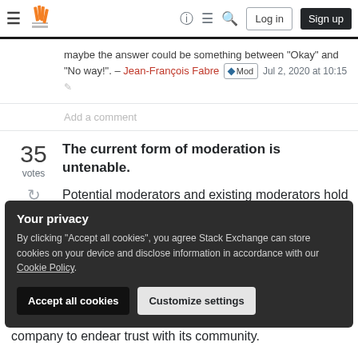Stack Overflow navigation bar with Log in and Sign up buttons
maybe the answer could be something between "Okay" and "No way!". – Jean-François Fabre ◆ Mod  Jul 2, 2020 at 10:15
Add a comment
35 votes
The current form of moderation is untenable.
Potential moderators and existing moderators hold little sway, if any, in the direction of the Stack Overflow community.
Your privacy
By clicking "Accept all cookies", you agree Stack Exchange can store cookies on your device and disclose information in accordance with our Cookie Policy.
Accept all cookies   Customize settings
company to endear trust with its community.